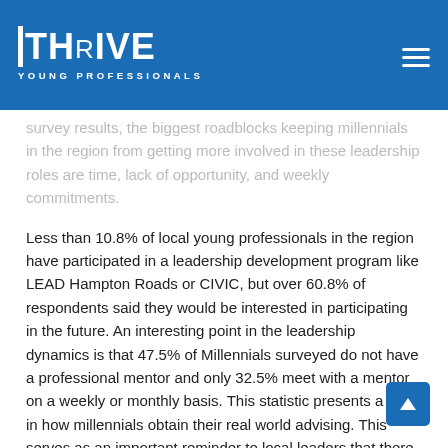THRIVE YOUNG PROFESSIONALS
survey results, the biggest roadblocks keeping millennials in the region from getting more involved in these leadership roles are time, lack of opportunity, and weekly commitments.
Less than 10.8% of local young professionals in the region have participated in a leadership development program like LEAD Hampton Roads or CIVIC, but over 60.8% of respondents said they would be interested in participating in the future. An interesting point in the leadership dynamics is that 47.5% of Millennials surveyed do not have a professional mentor and only 32.5% meet with a mentor on a weekly or monthly basis. This statistic presents a shift in how millennials obtain their real world advising. This serves as an important reminder to local leaders that there are active measures they can take to mentor young professionals as a means of attraction and retention.